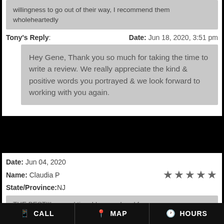willingness to go out of their way, I recommend them wholeheartedly
Tony's Reply:   Date: Jun 18, 2020, 3:51 pm
Hey Gene, Thank you so much for taking the time to write a review. We really appreciate the kind & positive words you portrayed & we look forward to working with you again.
Date: Jun 04, 2020
Name: Claudia P   ★★★★★
State/Province: NJ
THE BEST!!! second time I have ordered for